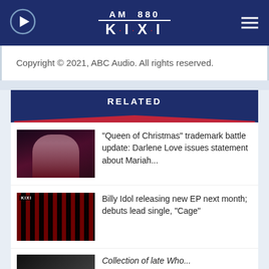AM 880 KIXI
Copyright © 2021, ABC Audio. All rights reserved.
RELATED
"Queen of Christmas" trademark battle update: Darlene Love issues statement about Mariah...
Billy Idol releasing new EP next month; debuts lead single, "Cage"
Collection of late Who...